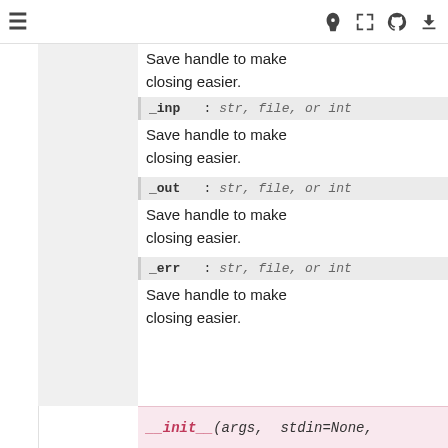≡ [icons: rocket, expand, github, download]
Save handle to make closing easier.
_inp : str, file, or int
Save handle to make closing easier.
_out : str, file, or int
Save handle to make closing easier.
_err : str, file, or int
Save handle to make closing easier.
__init__(args, stdin=None,